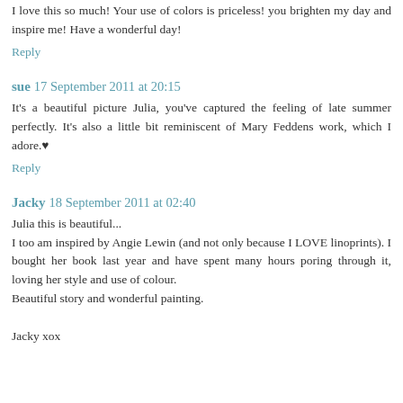I love this so much! Your use of colors is priceless! you brighten my day and inspire me! Have a wonderful day!
Reply
sue  17 September 2011 at 20:15
It's a beautiful picture Julia, you've captured the feeling of late summer perfectly. It's also a little bit reminiscent of Mary Feddens work, which I adore.♥
Reply
Jacky  18 September 2011 at 02:40
Julia this is beautiful...
I too am inspired by Angie Lewin (and not only because I LOVE linoprints). I bought her book last year and have spent many hours poring through it, loving her style and use of colour.
Beautiful story and wonderful painting.

Jacky xox